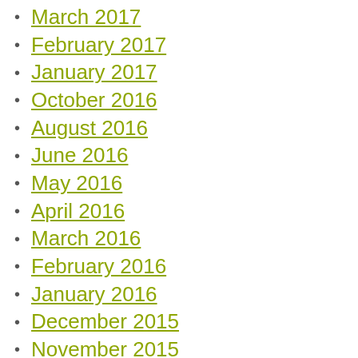March 2017
February 2017
January 2017
October 2016
August 2016
June 2016
May 2016
April 2016
March 2016
February 2016
January 2016
December 2015
November 2015